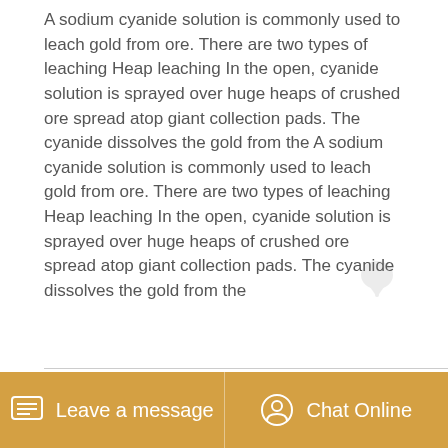A sodium cyanide solution is commonly used to leach gold from ore. There are two types of leaching Heap leaching In the open, cyanide solution is sprayed over huge heaps of crushed ore spread atop giant collection pads. The cyanide dissolves the gold from the A sodium cyanide solution is commonly used to leach gold from ore. There are two types of leaching Heap leaching In the open, cyanide solution is sprayed over huge heaps of crushed ore spread atop giant collection pads. The cyanide dissolves the gold from the
[Figure (other): GET PRICE button in golden/orange color]
[Figure (photo): Three photos of mining/industrial equipment shown in a row]
Leave a message   Chat Online